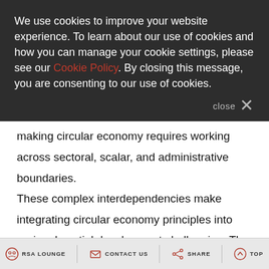We use cookies to improve your website experience. To learn about our use of cookies and how you can manage your cookie settings, please see our Cookie Policy. By closing this message, you are consenting to our use of cookies.
making circular economy requires working across sectoral, scalar, and administrative boundaries. These complex interdependencies make integrating circular economy principles into regional spatial development challenging. The exact nature of that challenge depends on the regional geographic, environmental, technological, economic and institutional characteristics. Particularly, the transition towards circular
RSA LOUNGE   CONTACT US   SHARE   TOP